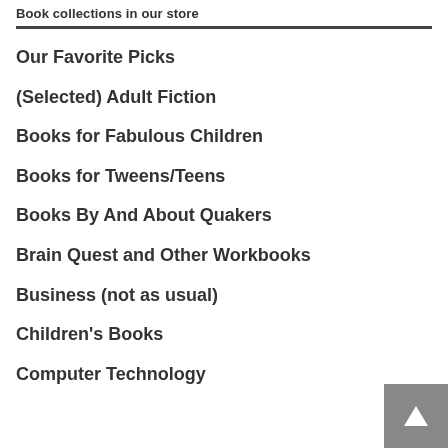Book collections in our store
Our Favorite Picks
(Selected) Adult Fiction
Books for Fabulous Children
Books for Tweens/Teens
Books By And About Quakers
Brain Quest and Other Workbooks
Business (not as usual)
Children's Books
Computer Technology